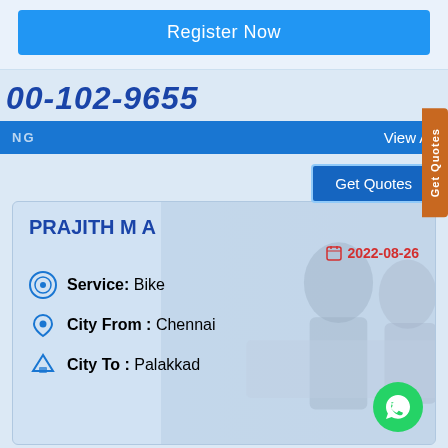[Figure (screenshot): Register Now blue button on light blue background]
00-102-9655
View All
[Figure (screenshot): Get Quotes card with PRAJITH M A, date 2022-08-26, Service: Bike, City From: Chennai, City To: Palakkad, with background of people studying]
PRAJITH M A
2022-08-26
Service: Bike
City From : Chennai
City To : Palakkad